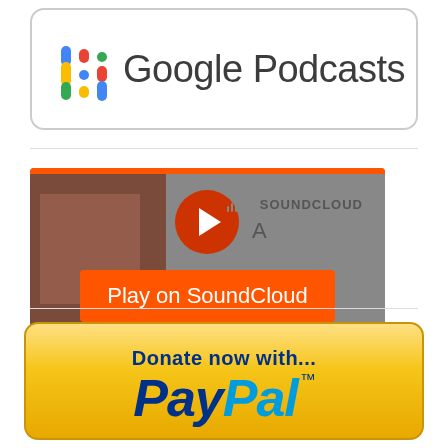[Figure (logo): Google Podcasts logo badge with colored dots grid and 'Google Podcasts' text in a rounded rectangle border]
[Figure (screenshot): SoundCloud embedded player widget showing play button, 'Play on SoundCloud' orange button, 'Listen in browser' dark button, and Privacy policy link]
[Figure (logo): PayPal donation button with gold gradient background, 'Donate now with...' text and large italic PayPal logo in blue]